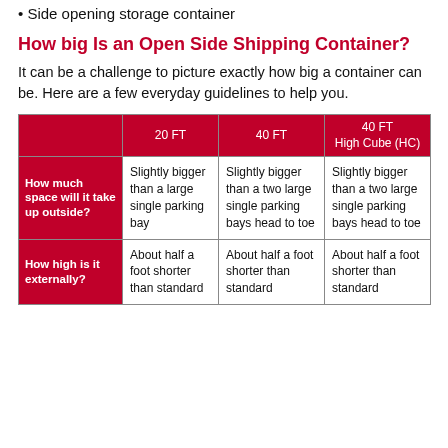Side opening storage container
How big Is an Open Side Shipping Container?
It can be a challenge to picture exactly how big a container can be. Here are a few everyday guidelines to help you.
|  | 20 FT | 40 FT | 40 FT High Cube (HC) |
| --- | --- | --- | --- |
| How much space will it take up outside? | Slightly bigger than a large single parking bay | Slightly bigger than a two large single parking bays head to toe | Slightly bigger than a two large single parking bays head to toe |
| How high is it externally? | About half a foot shorter than standard | About half a foot shorter than standard | About half a foot shorter than standard |